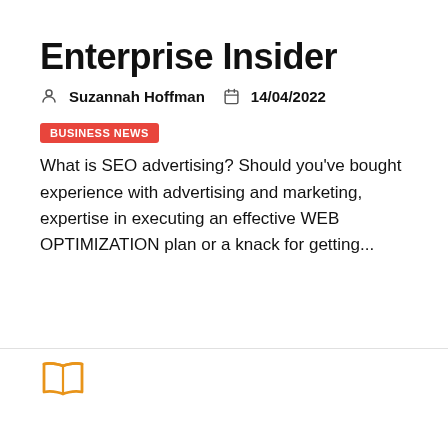Enterprise Insider
Suzannah Hoffman   14/04/2022
BUSINESS NEWS
What is SEO advertising? Should you've bought experience with advertising and marketing, expertise in executing an effective WEB OPTIMIZATION plan or a knack for getting...
[Figure (illustration): Open book icon in orange color]